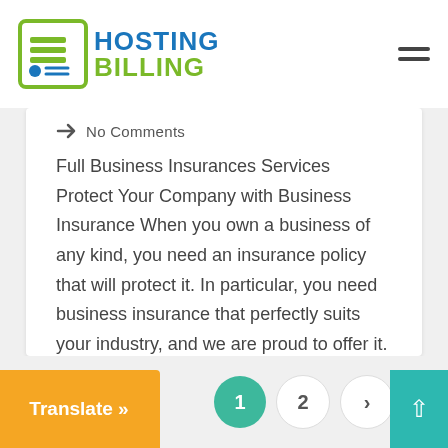HOSTING BILLING
No Comments
Full Business Insurances Services Protect Your Company with Business Insurance When you own a business of any kind, you need an insurance policy that will protect it. In particular, you need business insurance that perfectly suits your industry, and we are proud to offer it. When you get an insurance policy from us, you are [...]
Read More
Translate » | 1 | 2 | >